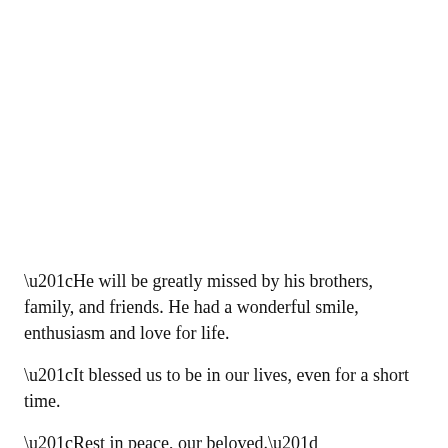“He will be greatly missed by his brothers, family, and friends. He had a wonderful smile, enthusiasm and love for life.
“It blessed us to be in our lives, even for a short time.
“Rest in peace, our beloved.”
Speaking to The Sun, He also said he was “a close…